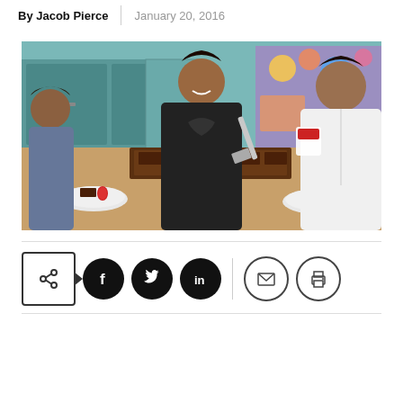By Jacob Pierce | January 20, 2016
[Figure (photo): Three students/people working together at a classroom table decorating brownies with strawberries. One person in a black shirt smiles while holding a spatula, another in a white hoodie holds a container of frosting. A third student on the left works on their plate. Colorful classroom decorations visible in background.]
[Figure (infographic): Social media sharing bar with share button (arrow icon), Facebook (f), Twitter (bird), LinkedIn (in), vertical separator, email (envelope), and print (printer) icons]